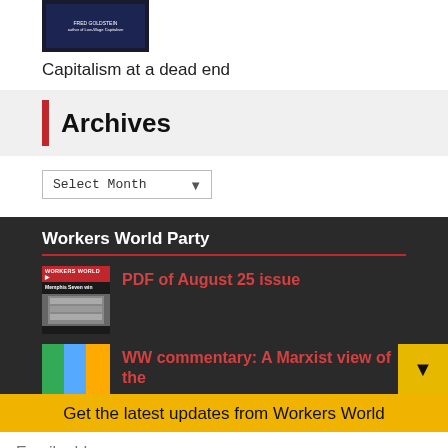[Figure (photo): Book cover image with dark background and white text, showing a book title]
Capitalism at a dead end
Archives
Select Month
Workers World Party
[Figure (photo): Thumbnail image of Workers World newspaper front page showing Memphis Seven win headline]
PDF of August 25 issue
[Figure (photo): Thumbnail image of Workers World newspaper]
WW commentary: A Marxist view of the
Get the latest updates from Workers World
Email address
Subscribe